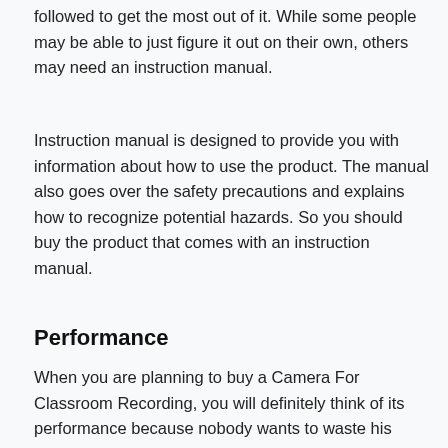followed to get the most out of it. While some people may be able to just figure it out on their own, others may need an instruction manual.
Instruction manual is designed to provide you with information about how to use the product. The manual also goes over the safety precautions and explains how to recognize potential hazards. So you should buy the product that comes with an instruction manual.
Performance
When you are planning to buy a Camera For Classroom Recording, you will definitely think of its performance because nobody wants to waste his money buying a poor product. So check it is one of